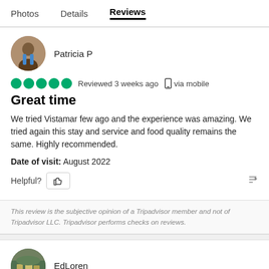Photos   Details   Reviews
Patricia P
Reviewed 3 weeks ago  via mobile
Great time
We tried Vistamar few ago and the experience was amazing. We tried again this stay and service and food quality remains the same. Highly recommended.
Date of visit: August 2022
Helpful?
This review is the subjective opinion of a Tripadvisor member and not of Tripadvisor LLC. Tripadvisor performs checks on reviews.
EdLoren
Reviewed January 10, 2022